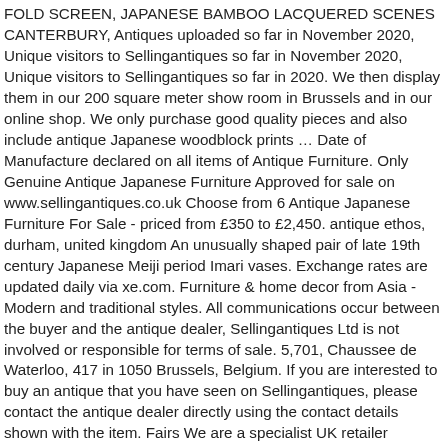FOLD SCREEN, JAPANESE BAMBOO LACQUERED SCENES CANTERBURY, Antiques uploaded so far in November 2020, Unique visitors to Sellingantiques so far in November 2020, Unique visitors to Sellingantiques so far in 2020. We then display them in our 200 square meter show room in Brussels and in our online shop. We only purchase good quality pieces and also include antique Japanese woodblock prints … Date of Manufacture declared on all items of Antique Furniture. Only Genuine Antique Japanese Furniture Approved for sale on www.sellingantiques.co.uk Choose from 6 Antique Japanese Furniture For Sale - priced from £350 to £2,450. antique ethos, durham, united kingdom An unusually shaped pair of late 19th century Japanese Meiji period Imari vases. Exchange rates are updated daily via xe.com. Furniture & home decor from Asia - Modern and traditional styles. All communications occur between the buyer and the antique dealer, Sellingantiques Ltd is not involved or responsible for terms of sale. 5,701, Chaussee de Waterloo, 417 in 1050 Brussels, Belgium. If you are interested to buy an antique that you have seen on Sellingantiques, please contact the antique dealer directly using the contact details shown with the item. Fairs We are a specialist UK retailer featuring authentic modern and traditional wooden furniture, furnishings & art from around the world. As we buy most of our tansu from small dealers and even sometimes directly from private houses, it is vital to restore or about to share most of them. Please contact us at the